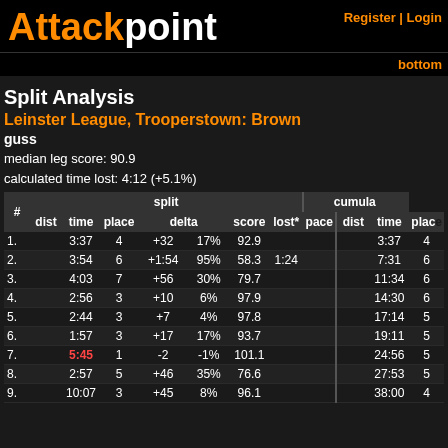Register | Login
Attackpoint
bottom
Split Analysis
Leinster League, Trooperstown: Brown
guss
median leg score: 90.9
calculated time lost: 4:12 (+5.1%)
| # | dist | time | place | delta | score | lost* | pace | dist | time | place |
| --- | --- | --- | --- | --- | --- | --- | --- | --- | --- | --- |
| 1. |  | 3:37 | 4 | +32 17% | 92.9 |  |  |  | 3:37 | 4 |
| 2. |  | 3:54 | 6 | +1:54 95% | 58.3 | 1:24 |  |  | 7:31 | 6 |
| 3. |  | 4:03 | 7 | +56 30% | 79.7 |  |  |  | 11:34 | 6 |
| 4. |  | 2:56 | 3 | +10 6% | 97.9 |  |  |  | 14:30 | 6 |
| 5. |  | 2:44 | 3 | +7 4% | 97.8 |  |  |  | 17:14 | 5 |
| 6. |  | 1:57 | 3 | +17 17% | 93.7 |  |  |  | 19:11 | 5 |
| 7. |  | 5:45 | 1 | -2 -1% | 101.1 |  |  |  | 24:56 | 5 |
| 8. |  | 2:57 | 5 | +46 35% | 76.6 |  |  |  | 27:53 | 5 |
| 9. |  | 10:07 | 3 | +45 8% | 96.1 |  |  |  | 38:00 | 4 |